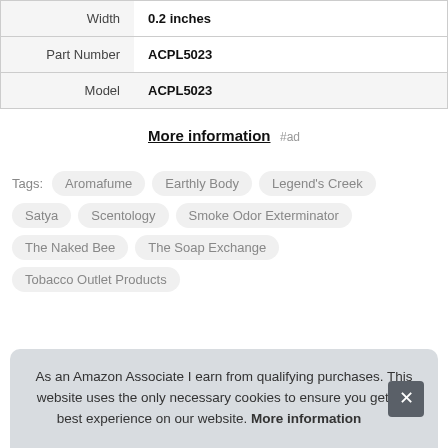| Width | 0.2 inches |
| Part Number | ACPL5023 |
| Model | ACPL5023 |
More information #ad
Tags: Aromafume  Earthly Body  Legend's Creek  Satya  Scentology  Smoke Odor Exterminator  The Naked Bee  The Soap Exchange  Tobacco Outlet Products
As an Amazon Associate I earn from qualifying purchases. This website uses the only necessary cookies to ensure you get the best experience on our website. More information